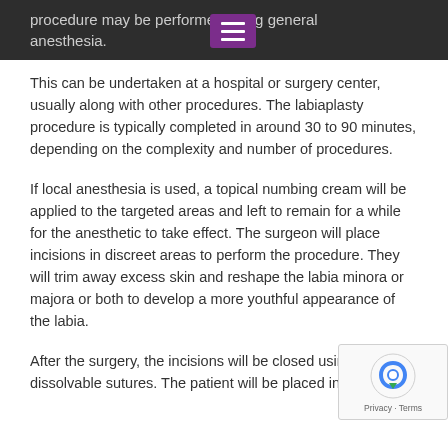procedure may be performed using general anesthesia.
This can be undertaken at a hospital or surgery center, usually along with other procedures. The labiaplasty procedure is typically completed in around 30 to 90 minutes, depending on the complexity and number of procedures.
If local anesthesia is used, a topical numbing cream will be applied to the targeted areas and left to remain for a while for the anesthetic to take effect. The surgeon will place incisions in discreet areas to perform the procedure. They will trim away excess skin and reshape the labia minora or majora or both to develop a more youthful appearance of the labia.
After the surgery, the incisions will be closed using dissolvable sutures. The patient will be placed in